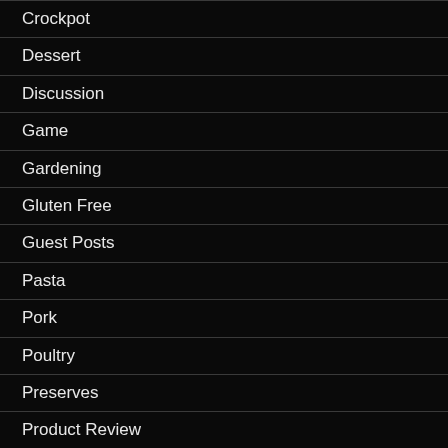Crockpot
Dessert
Discussion
Game
Gardening
Gluten Free
Guest Posts
Pasta
Pork
Poultry
Preserves
Product Review